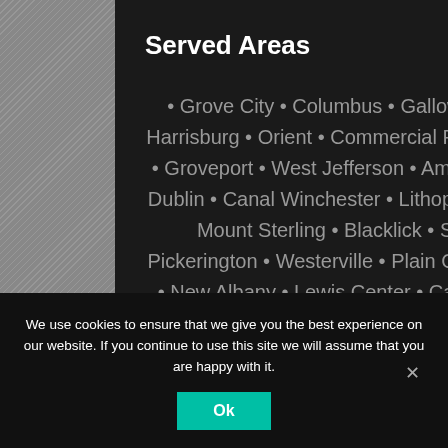Served Areas
• Grove City • Columbus • Galloway • Lockbourne • Harrisburg • Orient • Commercial Point • Derby • Hilliard • Groveport • West Jefferson • Amlin • Brice • Ashville • Dublin • Canal Winchester • Lithopolis • Reynoldsburg • Mount Sterling • Blacklick • Summit Station • Pickerington • Westerville • Plain City • Powell • London • New Albany • Lewis Center • Carroll • Williamsport • Circleville • Etna • Unionville Center • Pataskala • Amanda •
We use cookies to ensure that we give you the best experience on our website. If you continue to use this site we will assume that you are happy with it.